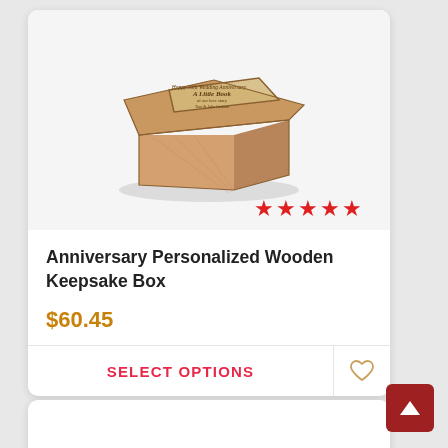[Figure (photo): Wooden keepsake box with engraved lid showing anniversary text, accompanied by 5 red star rating icons below]
Anniversary Personalized Wooden Keepsake Box
$60.45
SELECT OPTIONS